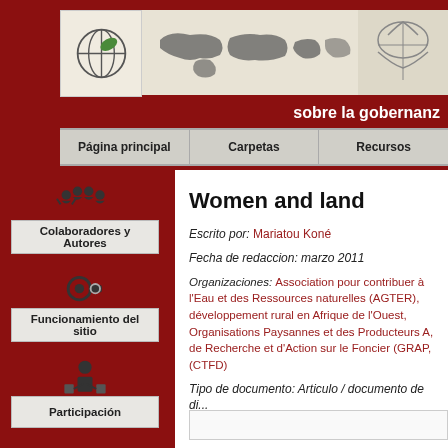[Figure (screenshot): Website header with logo, world map illustration, and banner text 'sobre la gobernanz']
Página principal | Carpetas | Recursos
Colaboradores y Autores
Funcionamiento del sitio
Participación
¿Quienes somos ?
Women and land
Escrito por: Mariatou Koné
Fecha de redaccion: marzo 2011
Organizaciones: Association pour contribuer à l'Eau et des Ressources naturelles (AGTER), développement rural en Afrique de l'Ouest, Organisations Paysannes et des Producteurs A, de Recherche et d'Action sur le Foncier (GRAP, (CTFD)
Tipo de documento: Articulo / documento de di...